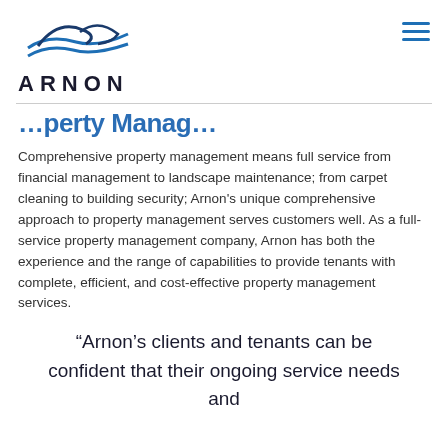[Figure (logo): Arnon company logo with blue wave/mountain graphic above the text ARNON in large bold letters]
…perty Manag…
Comprehensive property management means full service from financial management to landscape maintenance; from carpet cleaning to building security; Arnon's unique comprehensive approach to property management serves customers well. As a full-service property management company, Arnon has both the experience and the range of capabilities to provide tenants with complete, efficient, and cost-effective property management services.
“Arnon’s clients and tenants can be confident that their ongoing service needs and